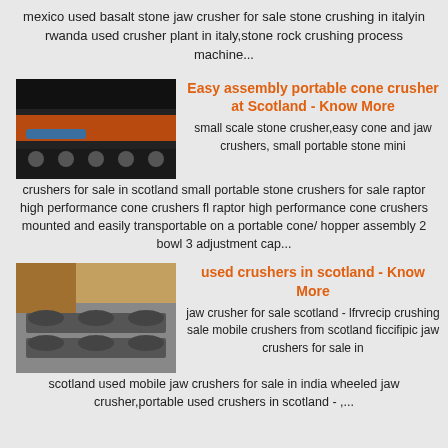mexico used basalt stone jaw crusher for sale stone crushing in italyin rwanda used crusher plant in italy,stone rock crushing process machine...
[Figure (photo): Industrial crusher machinery with orange/brown conveyor belt components]
Easy assembly portable cone crusher at Scotland - Know More
small scale stone crusher,easy cone and jaw crushers, small portable stone mini crushers for sale in scotland small portable stone crushers for sale raptor high performance cone crushers fl raptor high performance cone crushers mounted and easily transportable on a portable cone/ hopper assembly 2 bowl 3 adjustment cap...
[Figure (photo): Industrial chain/sprocket machinery components in outdoor setting]
used crushers in scotland - Know More
jaw crusher for sale scotland - lfrvrecip crushing sale mobile crushers from scotland ficcifipic jaw crushers for sale in scotland used mobile jaw crushers for sale in india wheeled jaw crusher,portable used crushers in scotland - ,...